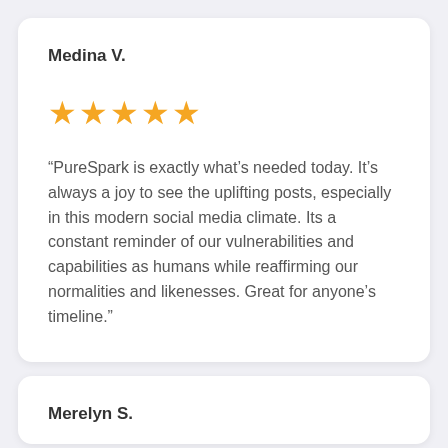Medina V.
[Figure (infographic): Five orange star rating icons indicating a 5-star review]
“PureSpark is exactly what’s needed today. It’s always a joy to see the uplifting posts, especially in this modern social media climate. Its a constant reminder of our vulnerabilities and capabilities as humans while reaffirming our normalities and likenesses. Great for anyone’s timeline.”
Merelyn S.